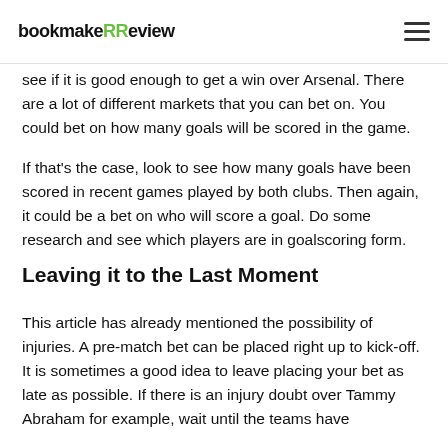bookmakeRReview
see if it is good enough to get a win over Arsenal. There are a lot of different markets that you can bet on. You could bet on how many goals will be scored in the game.
If that's the case, look to see how many goals have been scored in recent games played by both clubs. Then again, it could be a bet on who will score a goal. Do some research and see which players are in goalscoring form.
Leaving it to the Last Moment
This article has already mentioned the possibility of injuries. A pre-match bet can be placed right up to kick-off. It is sometimes a good idea to leave placing your bet as late as possible. If there is an injury doubt over Tammy Abraham for example, wait until the teams have